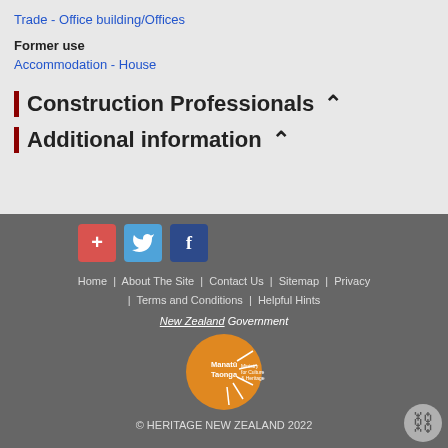Trade - Office building/Offices
Former use
Accommodation - House
Construction Professionals
Additional information
[Figure (other): Footer with social media icons (red plus, blue Twitter bird, dark blue Facebook f), navigation links (Home, About The Site, Contact Us, Sitemap, Privacy, Terms and Conditions, Helpful Hints), New Zealand Government / Manatu Taonga Ministry for Culture & Heritage logo, and copyright notice: © HERITAGE NEW ZEALAND 2022]
© HERITAGE NEW ZEALAND 2022